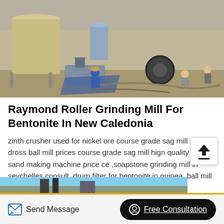[Figure (photo): Construction site with workers and industrial milling equipment, tanks and machinery visible]
Raymond Roller Grinding Mill For Bentonite In New Caledonia
zinth crusher used for nickel ore course grade sag mill zinc dross ball mill prices course grade sag mill hign quality rock sand making machine price ce ,soapstone grinding mill in seychelles,consult. drum filter for bentonite in guinea. ball mill wear liner for heavy feeder for mill suppliers raym mill manufacturer india . roller mill for
[Figure (photo): Partially visible second photo at bottom of page, industrial/outdoor setting with blue sky]
Send Message
Free Consultation